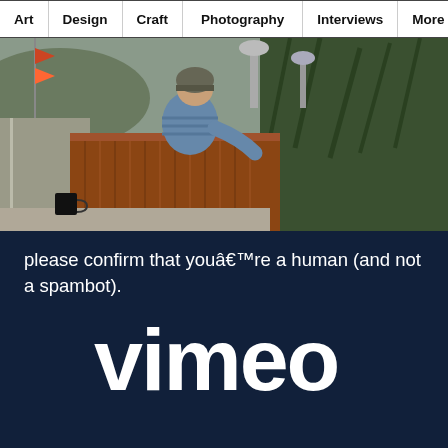Art | Design | Craft | Photography | Interviews | More
[Figure (photo): Person wearing a beanie hat and striped long-sleeve shirt working in an outdoor raised garden bed or planter made from corrugated metal, surrounded by tall flax plants and other vegetation. A road and hills are visible in the background. A black mug sits on the concrete edge in the foreground.]
please confirm that youâ€™re a human (and not a spambot).
[Figure (logo): Vimeo logo in large white rounded lettering on dark navy background]